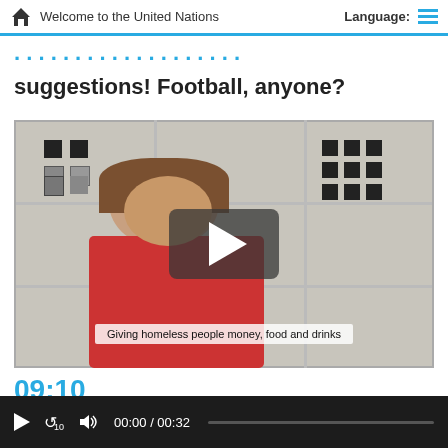Welcome to the United Nations | Language:
suggestions! Football, anyone?
[Figure (screenshot): Video screenshot showing a young girl sitting in front of a white shelving unit with small square decorations. A play button overlay is displayed in the center. Subtitle text reads: Giving homeless people money, food and drinks]
09:10
00:00 / 00:32